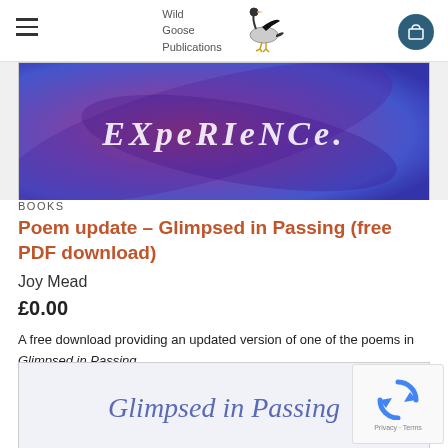Wild Goose Publications
[Figure (photo): Book cover image showing abstract swirling purple and red artwork with the word EXPERIENCE in white text]
BOOKS
Poem update – Glimpsed in Passing (free PDF download)
Joy Mead
£0.00
A free download providing an updated version of one of the poems in Glimpsed in Passing.
[Figure (photo): Book cover for 'Glimpsed in Passing' showing title text in blue-grey on a light background]